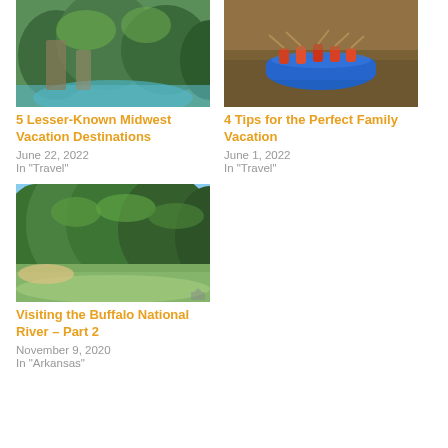[Figure (photo): Aerial view of lush green forested cliffs and turquoise water, Midwest landscape]
5 Lesser-Known Midwest Vacation Destinations
June 22, 2022
In "Travel"
[Figure (photo): Group of people river rafting in a blue inflatable raft on brown river water]
4 Tips for the Perfect Family Vacation
June 1, 2022
In "Travel"
[Figure (photo): River with calm greenish water flanked by green forested bluffs, Buffalo National River]
Visiting the Buffalo National River – Part 2
November 9, 2020
In "Arkansas"